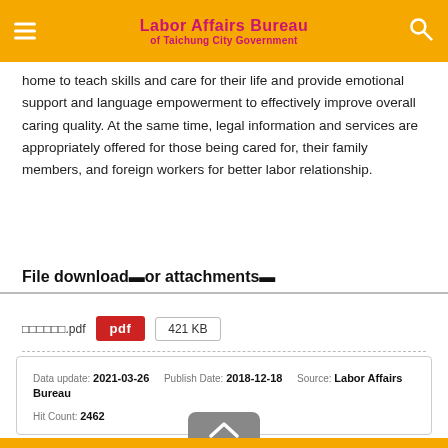Labor Affairs Bureau of Taichung City Government
home to teach skills and care for their life and provide emotional support and language empowerment to effectively improve overall caring quality. At the same time, legal information and services are appropriately offered for those being cared for, their family members, and foreign workers for better labor relationship.
File download■or attachments■
■■■■■■.pdf  pdf  421 KB
Data update: 2021-03-26   Publish Date: 2018-12-18   Source: Labor Affairs Bureau   Hit Count: 2462